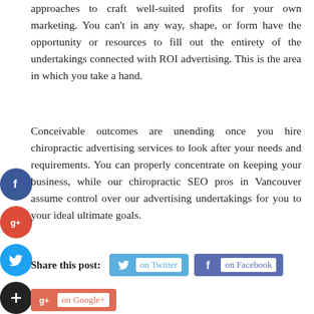approaches to craft well-suited profits for your own marketing. You can't in any way, shape, or form have the opportunity or resources to fill out the entirety of the undertakings connected with ROI advertising. This is the area in which you take a hand.
Conceivable outcomes are unending once you hire chiropractic advertising services to look after your needs and requirements. You can properly concentrate on keeping your business, while our chiropractic SEO pros in Vancouver assume control over our advertising undertakings for you to your ideal ultimate goals.
Share this post: on Twitter on Facebook on Google+